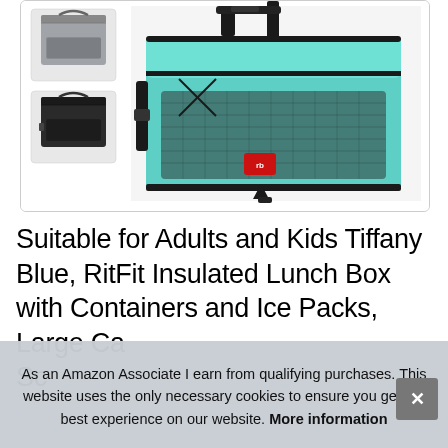[Figure (photo): Product photo of RitFit Insulated Lunch Box. Main large image shows a tiffany blue/mint colored insulated lunch bag with black trim, mesh front pocket, and carrying strap. Two smaller thumbnail images on the left show the same bag in gray and black colors.]
Suitable for Adults and Kids Tiffany Blue, RitFit Insulated Lunch Box with Containers and Ice Packs, Large Ca... Sc...
As an Amazon Associate I earn from qualifying purchases. This website uses the only necessary cookies to ensure you get the best experience on our website. More information